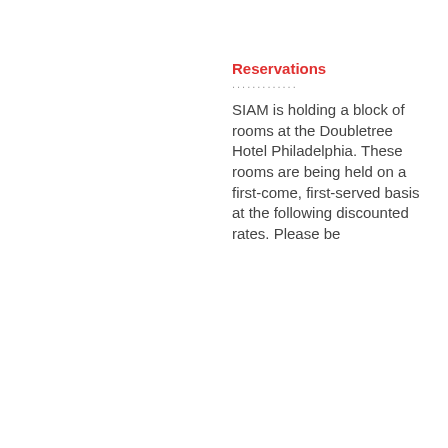Reservations
SIAM is holding a block of rooms at the Doubletree Hotel Philadelphia. These rooms are being held on a first-come, first-served basis at the following discounted rates. Please be